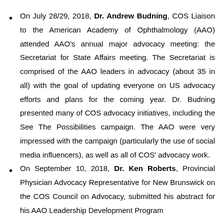On July 28/29, 2018, Dr. Andrew Budning, COS Liaison to the American Academy of Ophthalmology (AAO) attended AAO's annual major advocacy meeting: the Secretariat for State Affairs meeting. The Secretariat is comprised of the AAO leaders in advocacy (about 35 in all) with the goal of updating everyone on US advocacy efforts and plans for the coming year. Dr. Budning presented many of COS advocacy initiatives, including the See The Possibilities campaign. The AAO were very impressed with the campaign (particularly the use of social media influencers), as well as all of COS' advocacy work.
On September 10, 2018, Dr. Ken Roberts, Provincial Physician Advocacy Representative for New Brunswick on the COS Council on Advocacy, submitted his abstract for his AAO Leadership Development Program